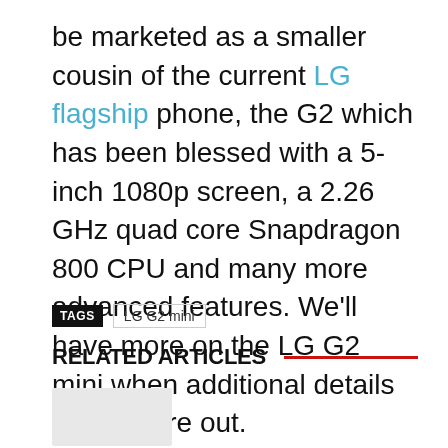be marketed as a smaller cousin of the current LG flagship phone, the G2 which has been blessed with a 5-inch 1080p screen, a 2.26 GHz quad core Snapdragon 800 CPU and many more advanced features. We'll have more on the LG G2 mini when additional details about it are out.
TAGS  LG G2 mini
RELATED ARTICLES
[Figure (photo): Placeholder image thumbnail for a related article]